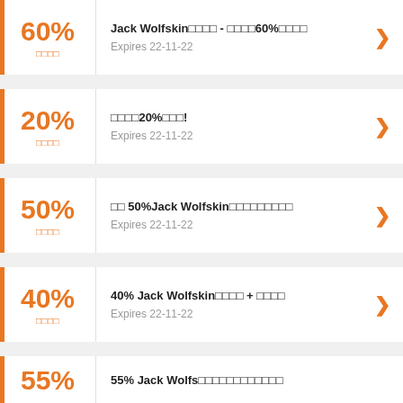60% 折扣 - Jack Wolfskin折扣 - 節省高達60%優惠券 Expires 22-11-22
20% 折扣 節省20%折扣! Expires 22-11-22
50% 折扣 節省 50%Jack Wolfskin優惠券及促銷代碼 Expires 22-11-22
40% 折扣 40% Jack Wolfskin優惠券 + 折扣碼 Expires 22-11-22
55% 折扣 55% Jack Wolfskin優惠券及促銷代碼 (partial)